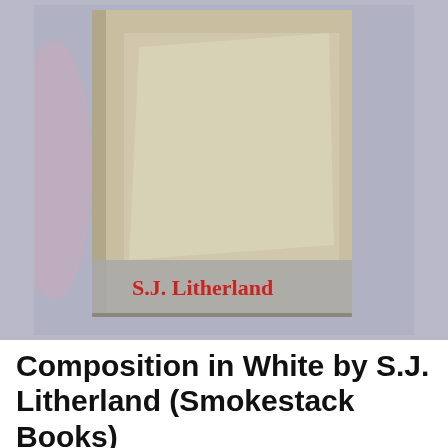[Figure (photo): A photograph of a book cover for 'Composition in White' by S.J. Litherland (Smokestack Books). The cover is a tan/kraft paper texture with a lighter rectangular panel inset. At the bottom of the cover, a grey band displays the author name 'S.J. Litherland' in red serif font. The book is photographed against a light blue-grey background.]
Composition in White by S.J. Litherland (Smokestack Books)